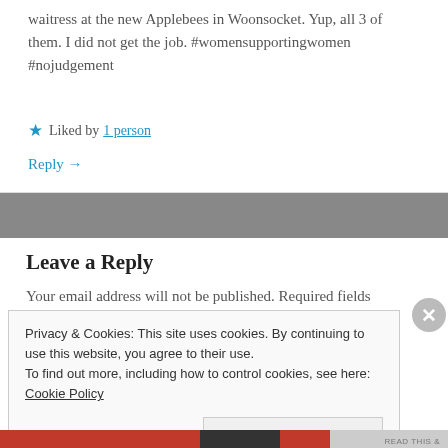waitress at the new Applebees in Woonsocket. Yup, all 3 of them. I did not get the job. #womensupportingwomen #nojudgement
★ Liked by 1 person
Reply →
Leave a Reply
Your email address will not be published. Required fields
Privacy & Cookies: This site uses cookies. By continuing to use this website, you agree to their use. To find out more, including how to control cookies, see here: Cookie Policy
Close and accept